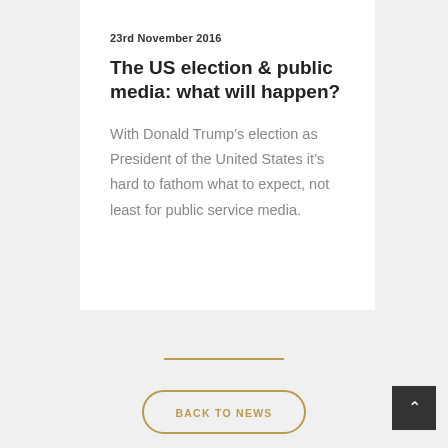23rd November 2016
The US election & public media: what will happen?
With Donald Trump’s election as President of the United States it's hard to fathom what to expect, not least for public service media.
BACK TO NEWS